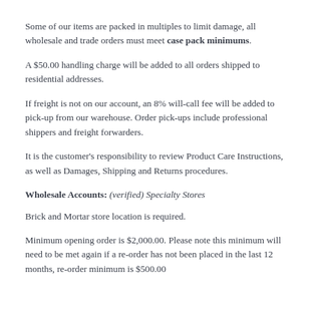Some of our items are packed in multiples to limit damage, all wholesale and trade orders must meet case pack minimums.
A $50.00 handling charge will be added to all orders shipped to residential addresses.
If freight is not on our account, an 8% will-call fee will be added to pick-up from our warehouse. Order pick-ups include professional shippers and freight forwarders.
It is the customer's responsibility to review Product Care Instructions, as well as Damages, Shipping and Returns procedures.
Wholesale Accounts: (verified) Specialty Stores
Brick and Mortar store location is required.
Minimum opening order is $2,000.00. Please note this minimum will need to be met again if a re-order has not been placed in the last 12 months, re-order minimum is $500.00